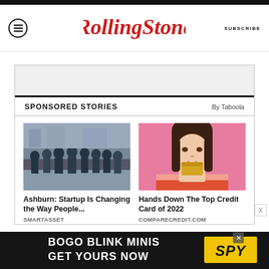Rolling Stone  SUBSCRIBE
SPONSORED STORIES  By Taboola
[Figure (photo): Group of startup team members in dark shirts posing outdoors]
Ashburn: Startup Is Changing the Way People...
SMARTASSET
[Figure (photo): Young woman with bangs holding a gold credit card against pink background]
Hands Down The Top Credit Card of 2022
COMPARECREDIT.COM
[Figure (infographic): Ad banner: BOGO BLINK MINIS GET YOURS NOW with SPY logo]